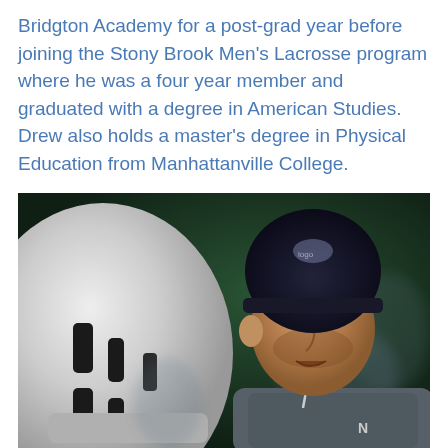Bridgton Academy for a post-grad year before joining the Stony Brook Men's Lacrosse program where he was a four year member and graduated with a degree in American Studies. Drew also holds a master's degree in Physical Education from Manhattanville College.
[Figure (photo): A lacrosse coach wearing a dark beanie hat and grey New Balance jacket speaking to a player wearing a white lacrosse helmet, photographed indoors against a dark green background.]